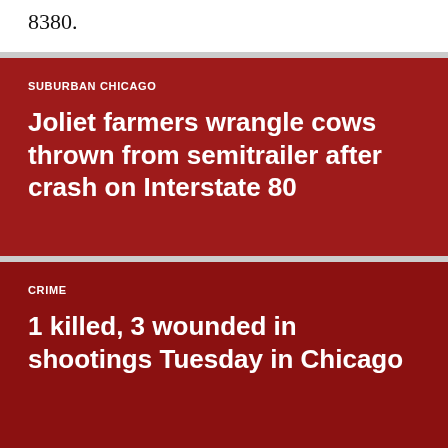8380.
SUBURBAN CHICAGO
Joliet farmers wrangle cows thrown from semitrailer after crash on Interstate 80
CRIME
1 killed, 3 wounded in shootings Tuesday in Chicago